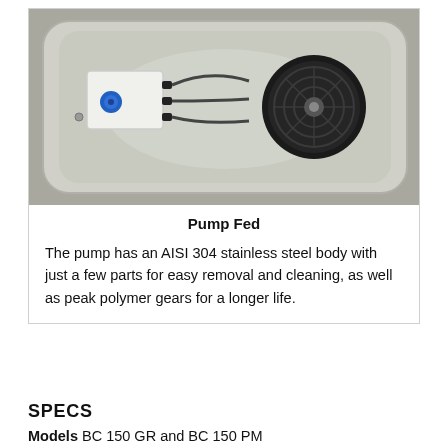[Figure (photo): Top-down view of a stainless steel pump-fed unit inside a rectangular basin. On the left side is a white block component with a blue valve/knob and black fittings connected by tubing. On the right is a black circular fan/motor assembly. The basin has rounded corners and a reflective metallic interior.]
Pump Fed
The pump has an AISI 304 stainless steel body with just a few parts for easy removal and cleaning, as well as peak polymer gears for a longer life.
SPECS
Models BC 150 GR and BC 150 PM